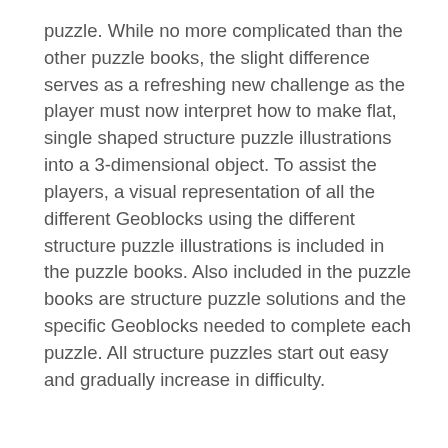puzzle. While no more complicated than the other puzzle books, the slight difference serves as a refreshing new challenge as the player must now interpret how to make flat, single shaped structure puzzle illustrations into a 3-dimensional object. To assist the players, a visual representation of all the different Geoblocks using the different structure puzzle illustrations is included in the puzzle books. Also included in the puzzle books are structure puzzle solutions and the specific Geoblocks needed to complete each puzzle. All structure puzzles start out easy and gradually increase in difficulty.